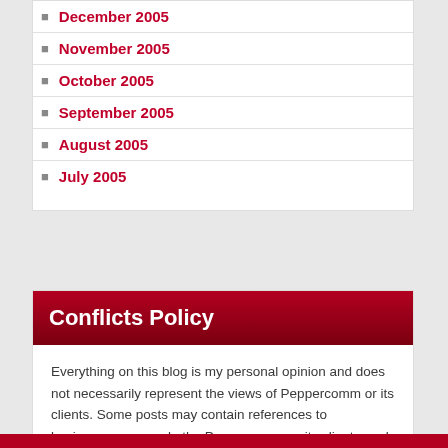December 2005
November 2005
October 2005
September 2005
August 2005
July 2005
Conflicts Policy
Everything on this blog is my personal opinion and does not necessarily represent the views of Peppercomm or its clients. Some posts may contain references to businesses or people the Peppercomm or its clients work with or have worked with, and in such cases I make an effort to point out such connections in the posts. I also may choose not to write about subjects or events that may relate to or affect Peppercomm clients.